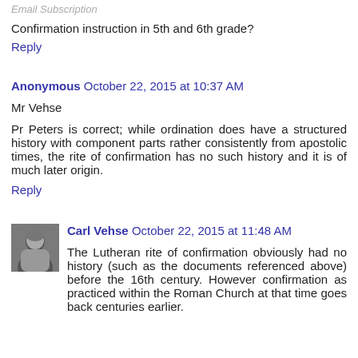Email Subscription
Confirmation instruction in 5th and 6th grade?
Reply
Anonymous  October 22, 2015 at 10:37 AM
Mr Vehse
Pr Peters is correct; while ordination does have a structured history with component parts rather consistently from apostolic times, the rite of confirmation has no such history and it is of much later origin.
Reply
Carl Vehse  October 22, 2015 at 11:48 AM
The Lutheran rite of confirmation obviously had no history (such as the documents referenced above) before the 16th century. However confirmation as practiced within the Roman Church at that time goes back centuries earlier.